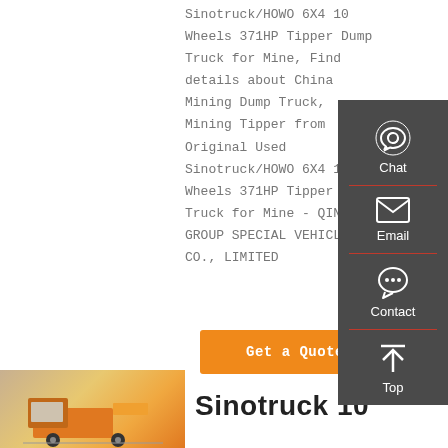Sinotruck/HOWO 6X4 10 Wheels 371HP Tipper Dump Truck for Mine, Find details about China Mining Dump Truck, Mining Tipper from Original Used Sinotruck/HOWO 6X4 10 Wheels 371HP Tipper Dump Truck for Mine - QINGTE GROUP SPECIAL VEHICLES CO., LIMITED
[Figure (infographic): Sidebar panel with dark grey background showing Chat (headset icon), Email (envelope icon), Contact (speech bubble icon), and Top (up arrow icon) navigation buttons, separated by red dividers]
Get a Quote
[Figure (photo): Partial photo of a dump truck with orange and yellow coloring at bottom left]
Sinotruck 10